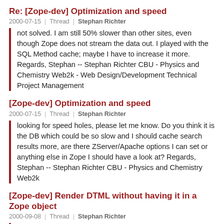Re: [Zope-dev] Optimization and speed
2000-07-15  |  Thread  |  Stephan Richter
not solved. I am still 50% slower than other sites, even though Zope does not stream the data out. I played with the SQL Method cache; maybe I have to increase it more. Regards, Stephan -- Stephan Richter CBU - Physics and Chemistry Web2k - Web Design/Development Technical Project Management
[Zope-dev] Optimization and speed
2000-07-15  |  Thread  |  Stephan Richter
looking for speed holes, please let me know. Do you think it is the DB which could be so slow and I should cache search results more, are there ZServer/Apache options I can set or anything else in Zope I should have a look at? Regards, Stephan -- Stephan Richter CBU - Physics and Chemistry Web2k
[Zope-dev] Render DTML without having it in a Zope object
2000-09-08  |  Thread  |  Stephan Richter
code. But of course, it would be cool, if I could get a more